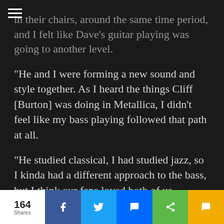in their chairs, around the same time period, and I felt like Dave's guitar playing was going to another level.
“He and I were forming a new sound and style together. As I heard the things Cliff [Burton] was doing in Metallica, I didn’t feel like my bass playing followed that path at all.
“He studied classical, I had studied jazz, so I kinda had a different approach to the bass, but I think our fans loved both of us. [Laughs] It was this era where bass playing in heavy metal was very aggressive and out-front. That was a big part of our early compositions, and that has stayed true for the
164 Shares